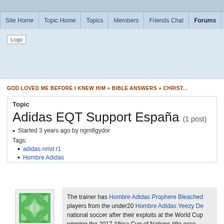Site Home | Topic Home | Topics | Members | Friends Chat | Forums
[Figure (logo): Logo placeholder image in header area]
GOD LOVED ME BEFORE I KNEW HIM » BIBLE ANSWERS » CHRIST...
Topic
Adidas EQT Support España (1 post)
Started 3 years ago by ngm8gydor
Tags:
adidas nmd r1
Hombre Adidas
ngm8gydor
Member
The trainer has Hombre Adidas Prophere Bleached players from the under20 Hombre Adidas Yeezy De national soccer after their exploits at the World Cup winning the 2017 Africa Cup of Nations title acco...